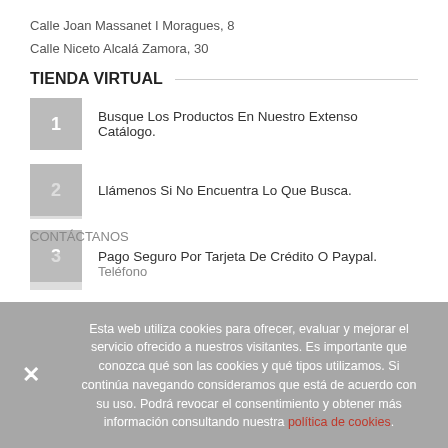Calle Joan Massanet I Moragues, 8
Calle Niceto Alcalá Zamora, 30
TIENDA VIRTUAL
Busque Los Productos En Nuestro Extenso Catálogo.
Llámenos Si No Encuentra Lo Que Busca.
Pago Seguro Por Tarjeta De Crédito O Paypal.
Esta web utiliza cookies para ofrecer, evaluar y mejorar el servicio ofrecido a nuestros visitantes. Es importante que conozca qué son las cookies y qué tipos utilizamos. Si continúa navegando consideramos que está de acuerdo con su uso. Podrá revocar el consentimiento y obtener más información consultando nuestra política de cookies.